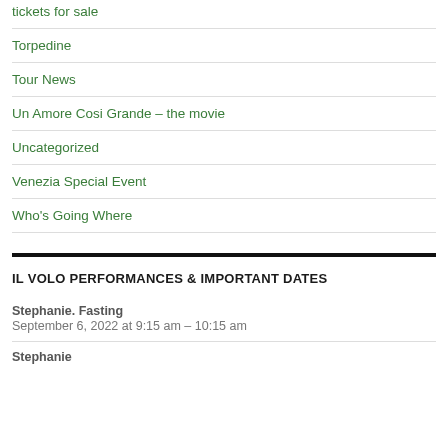tickets for sale
Torpedine
Tour News
Un Amore Cosi Grande – the movie
Uncategorized
Venezia Special Event
Who's Going Where
IL VOLO PERFORMANCES & IMPORTANT DATES
Stephanie. Fasting
September 6, 2022 at 9:15 am – 10:15 am
Stephanie